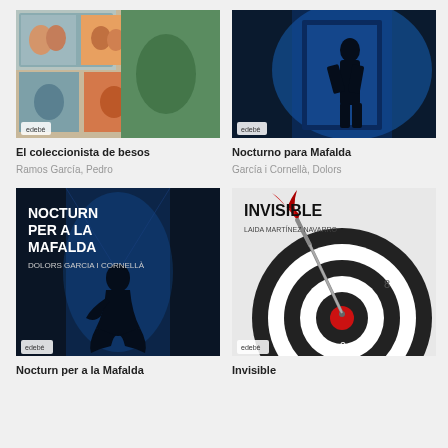[Figure (photo): Book cover: El coleccionista de besos - collage of romantic couple photos]
[Figure (photo): Book cover: Nocturno para Mafalda - silhouette of person in blue light]
El coleccionista de besos
Nocturno para Mafalda
Ramos García, Pedro
García i Cornellà, Dolors
[Figure (photo): Book cover: Nocturn per a la Mafalda - silhouette of kneeling person in blue corridor, by Dolors Garcia i Cornellà, edebé]
[Figure (photo): Book cover: Invisible - red dart in bullseye target, by Laida Martínez Navarro, edebé]
Nocturn per a la Mafalda
Invisible